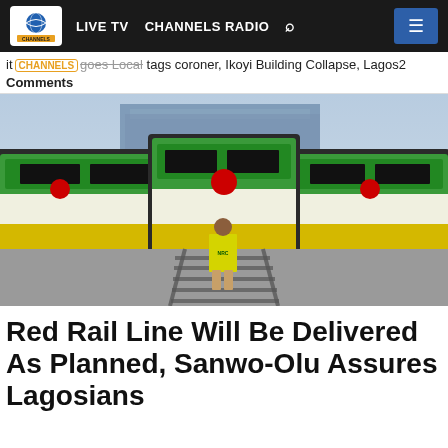LIVE TV  CHANNELS RADIO
it goes Local tags coroner, Ikoyi Building Collapse, Lagos2 Comments
[Figure (photo): Three green and white Nigerian railway locomotives decorated with red ribbons parked side-by-side at a train station, with a person in a yellow NRC safety vest standing on the tracks between them, viewed from behind.]
Red Rail Line Will Be Delivered As Planned, Sanwo-Olu Assures Lagosians